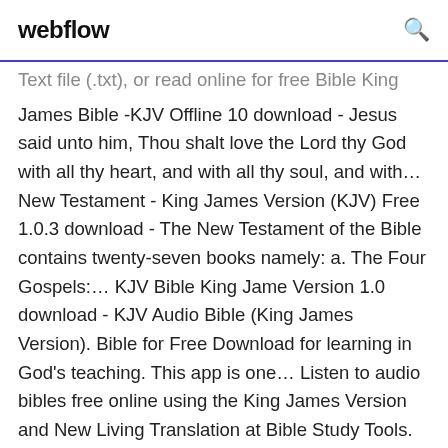webflow
Text file (.txt), or read online for free Bible King James Bible -KJV Offline 10 download - Jesus said unto him, Thou shalt love the Lord thy God with all thy heart, and with all thy soul, and with... New Testament - King James Version (KJV) Free 1.0.3 download - The New Testament of the Bible contains twenty-seven books namely: a. The Four Gospels:... KJV Bible King Jame Version 1.0 download - KJV Audio Bible (King James Version). Bible for Free Download for learning in God's teaching. This app is one... Listen to audio bibles free online using the King James Version and New Living Translation at Bible Study Tools.